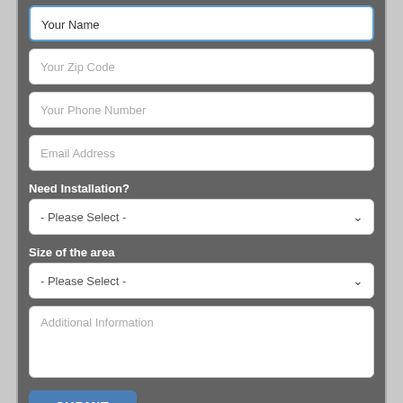Your Name
Your Zip Code
Your Phone Number
Email Address
Need Installation?
- Please Select -
Size of the area
- Please Select -
Additional Information
SUBMIT